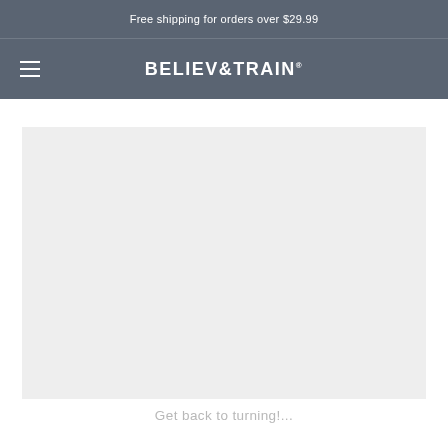Free shipping for orders over $29.99
BELIEV&TRAIN®
[Figure (other): Large light gray placeholder image area for a product or promotional photo]
Get back to turning!...